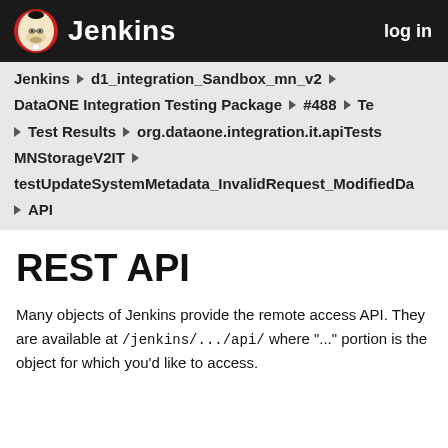Jenkins  log in
Jenkins ▶ d1_integration_Sandbox_mn_v2 ▶
DataONE Integration Testing Package ▶ #488 ▶ Te
▶ Test Results ▶ org.dataone.integration.it.apiTests
MNStorageV2IT ▶
testUpdateSystemMetadata_InvalidRequest_ModifiedDa
▶ API
REST API
Many objects of Jenkins provide the remote access API. They are available at /jenkins/.../api/ where "..." portion is the object for which you'd like to access.